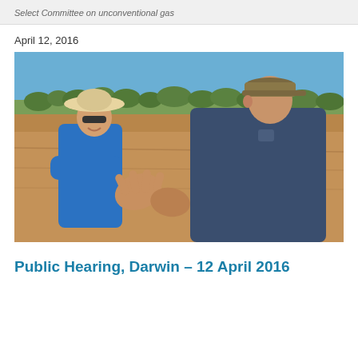Select Committee on unconventional gas
April 12, 2016
[Figure (photo): Two men standing outdoors in a dry agricultural field. The man on the left wears a blue shirt and a wide-brimmed hat with sunglasses. The man on the right wears a dark blue shirt and a cap, and appears to be gesturing with his hands while speaking. Dry trees and a clear blue sky are visible in the background.]
Public Hearing, Darwin – 12 April 2016